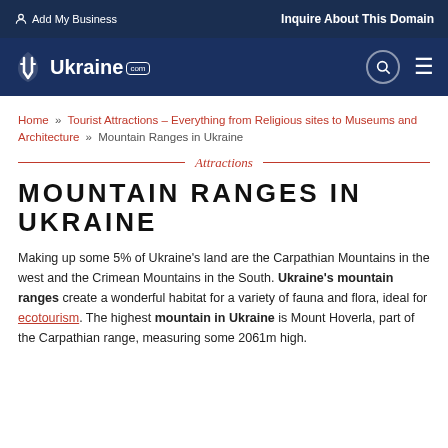Add My Business | Inquire About This Domain | Ukraine.com
Home » Tourist Attractions – Everything from Religious sites to Museums and Architecture » Mountain Ranges in Ukraine
Attractions
MOUNTAIN RANGES IN UKRAINE
Making up some 5% of Ukraine's land are the Carpathian Mountains in the west and the Crimean Mountains in the South. Ukraine's mountain ranges create a wonderful habitat for a variety of fauna and flora, ideal for ecotourism. The highest mountain in Ukraine is Mount Hoverla, part of the Carpathian range, measuring some 2061m high.